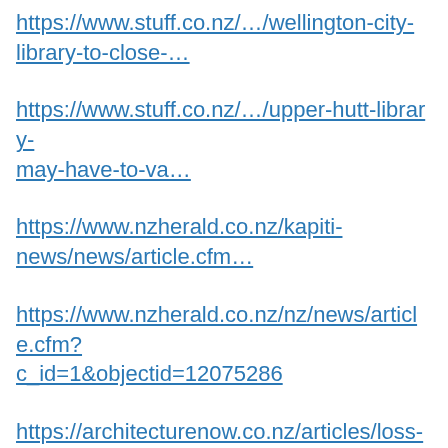https://www.stuff.co.nz/.../wellington-city-library-to-close-…
https://www.stuff.co.nz/.../upper-hutt-library-may-have-to-va…
https://www.nzherald.co.nz/kapiti-news/news/article.cfm…
https://www.nzherald.co.nz/nz/news/article.cfm?c_id=1&objectid=12075286
https://architecturenow.co.nz/articles/loss-and-libraries/